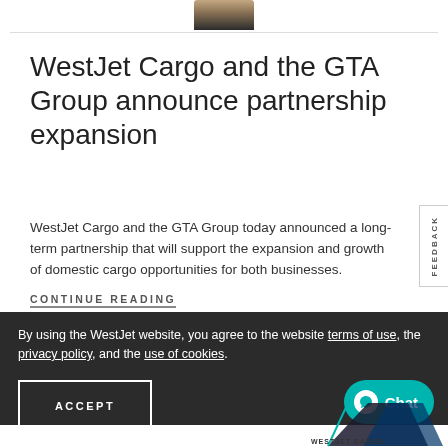[Figure (photo): Partial view of a person at the top of the page]
WestJet Cargo and the GTA Group announce partnership expansion
WestJet Cargo and the GTA Group today announced a long-term partnership that will support the expansion and growth of domestic cargo opportunities for both businesses.
CONTINUE READING
By using the WestJet website, you agree to the website terms of use, the privacy policy, and the use of cookies.
ACCEPT
Chat
FEEDBACK
[Figure (logo): WestJet Cargo logo at bottom right]